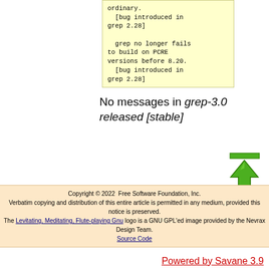ordinary.
  [bug introduced in grep 2.28]

  grep no longer fails to build on PCRE versions before 8.20.
  [bug introduced in grep 2.28]
No messages in grep-3.0 released [stable]
[Figure (illustration): Green upward arrow icon with a horizontal bar on top, indicating scroll to top]
Copyright © 2022  Free Software Foundation, Inc.
Verbatim copying and distribution of this entire article is permitted in any medium, provided this notice is preserved.
The Levitating, Meditating, Flute-playing Gnu logo is a GNU GPL'ed image provided by the Nevrax Design Team.
Source Code
Powered by Savane 3.9